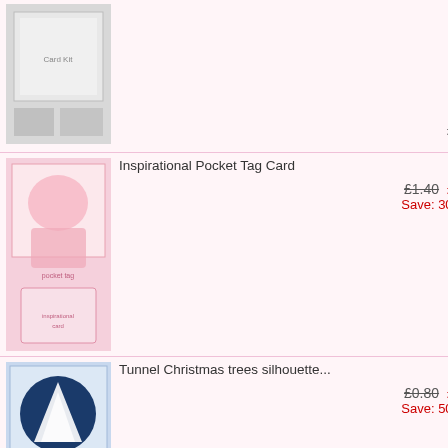[Figure (photo): Partial product image at top - grey card kit]
£1.50
[Figure (photo): Inspirational Pocket Tag Card - pink floral design]
Inspirational Pocket Tag Card
£1.40  £0.98
Save: 30% off
[Figure (photo): Tunnel Christmas trees silhouette card - blue with white trees]
Tunnel Christmas trees silhouette...
£0.80  £0.40
Save: 50% off
[Figure (photo): Barking Mad Dog Wobbly Head Card - cartoon dog illustration]
BARKING MAD DOG WOBBLY HEAD CARD...
£1.20
[Figure (photo): Easter basket step in middle set - purple Easter card]
Easter basket step,in middle set
£0.80
[Figure (photo): Wild Flowers Mini Kit - partial view at bottom]
Wild Flowers Mini Kit